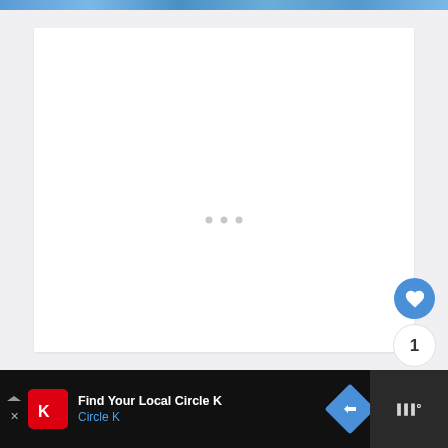[Figure (screenshot): Main content area with white card and three loading dots centered, indicating content loading state]
[Figure (infographic): Blue heart button, count button showing '1', and share button with plus icon stacked vertically on right side]
[Figure (infographic): Advertisement banner: Find Your Local Circle K / Circle K with logo, navigation arrow icon, and weather widget on right]